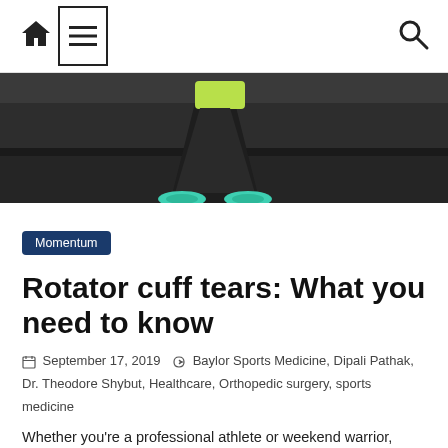Navigation bar with home icon, menu icon, and search icon
[Figure (photo): Cropped photo of a person in athletic wear (green top, black leggings, teal sneakers) doing a squat or athletic pose against a dark background.]
Momentum
Rotator cuff tears: What you need to know
September 17, 2019  Baylor Sports Medicine, Dipali Pathak, Dr. Theodore Shybut, Healthcare, Orthopedic surgery, sports medicine
Whether you're a professional athlete or weekend warrior, injuries are bound to happen – including injuries that involve the shoulder. In fact, rotator cuff tears